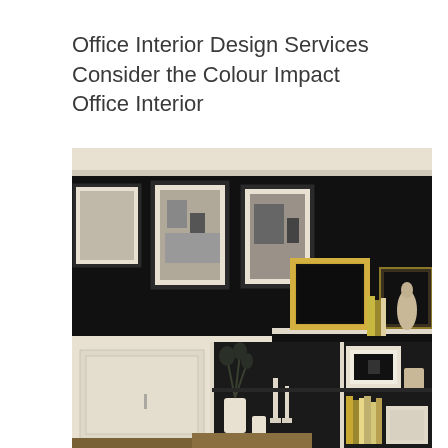Office Interior Design Services Consider the Colour Impact Office Interior
[Figure (photo): A sophisticated dark office interior with black walls, white built-in shelving and cabinetry, framed black-and-white artwork hung on the upper wall, decorative gold ornate frame on the shelving top, books, white ceramic vases, candlesticks, and decorative objects arranged on shelves.]